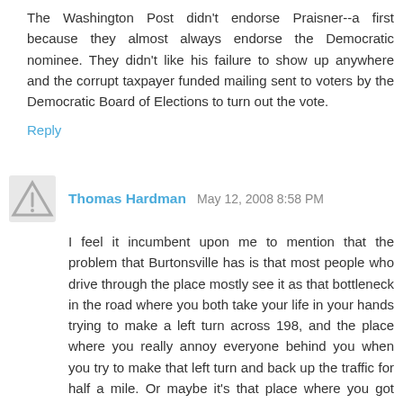The Washington Post didn't endorse Praisner--a first because they almost always endorse the Democratic nominee. They didn't like his failure to show up anywhere and the corrupt taxpayer funded mailing sent to voters by the Democratic Board of Elections to turn out the vote.
Reply
Thomas Hardman  May 12, 2008 8:58 PM
I feel it incumbent upon me to mention that the problem that Burtonsville has is that most people who drive through the place mostly see it as that bottleneck in the road where you both take your life in your hands trying to make a left turn across 198, and the place where you really annoy everyone behind you when you try to make that left turn and back up the traffic for half a mile. Or maybe it's that place where you got stuck for 20 minutes behind someone trying to make a left turn.
But seriously, the place could use a large circle, on about the same scale as Chevy Chase Circle or any of the other...